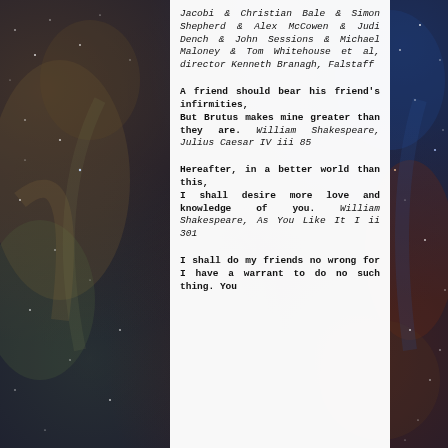Jacobi & Christian Bale & Simon Shepherd & Alex McCowen & Judi Dench & John Sessions & Michael Maloney & Tom Whitehouse et al, director Kenneth Branagh, Falstaff
A friend should bear his friend's infirmities, But Brutus makes mine greater than they are. William Shakespeare, Julius Caesar IV iii 85
Hereafter, in a better world than this, I shall desire more love and knowledge of you. William Shakespeare, As You Like It I ii 301
I shall do my friends no wrong for I have a warrant to do no such thing. You...